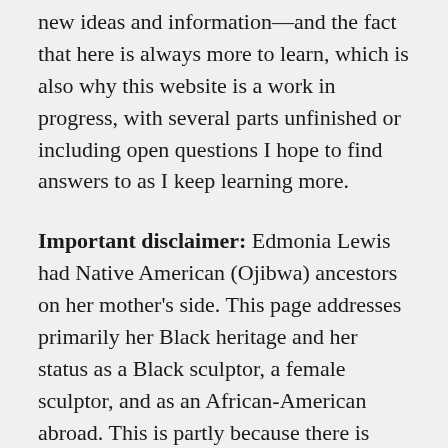new ideas and information—and the fact that here is always more to learn, which is also why this website is a work in progress, with several parts unfinished or including open questions I hope to find answers to as I keep learning more.
Important disclaimer: Edmonia Lewis had Native American (Ojibwa) ancestors on her mother's side. This page addresses primarily her Black heritage and her status as a Black sculptor, a female sculptor, and as an African-American abroad. This is partly because there is little to no documentation about her Ojibwa heritage, so the research on this is sparse, but it is